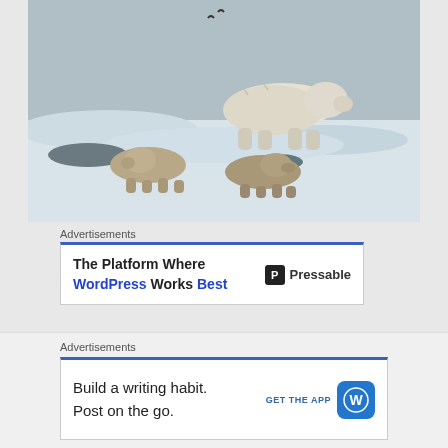[Figure (photo): Polar bears in snowy landscape — one adult polar bear standing in background, two younger bears (cubs) in foreground, all on white snow-covered ground.]
Advertisements
[Figure (screenshot): Advertisement banner: 'The Platform Where WordPress Works Best' — Pressable logo on right]
There were also a close encounter with an arctic fox
Advertisements
[Figure (screenshot): Advertisement banner: 'Build a writing habit. Post on the go.' GET THE APP — WordPress logo]